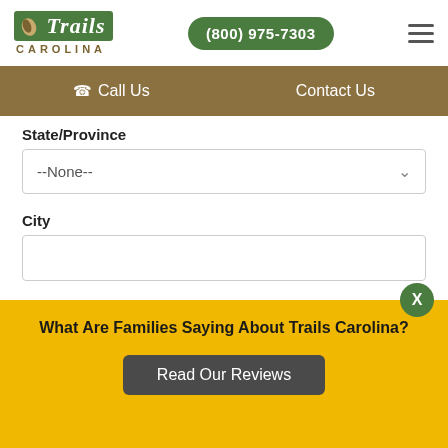[Figure (logo): Trails Carolina logo with green box and leaf icon, CAROLINA text below in brown]
(800) 975-7303
☰ hamburger menu icon
Call Us   Contact Us
State/Province
--None--
City
Comments:
What Are Families Saying About Trails Carolina?
Read Our Reviews